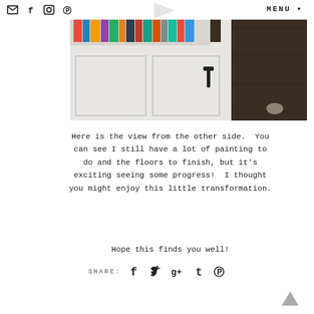social icons: email, facebook, instagram, pinterest | MENU
[Figure (photo): Interior photo showing the view from the other side of a room with built-in white bookshelves filled with books, black hardware on cabinet doors, and dark hardwood floors.]
Here is the view from the other side.  You can see I still have a lot of painting to do and the floors to finish, but it's exciting seeing some progress!  I thought you might enjoy this little transformation.
Hope this finds you well!
SHARE: [facebook] [twitter] [google+] [tumblr] [pinterest]